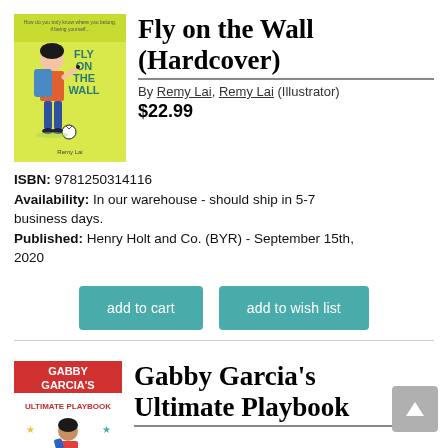[Figure (illustration): Book cover of 'Fly on the Wall' showing a child with a backpack and soccer ball on a green/yellow background]
Fly on the Wall (Hardcover)
By Remy Lai, Remy Lai (Illustrator)
$22.99
ISBN: 9781250314116
Availability: In our warehouse - should ship in 5-7 business days.
Published: Henry Holt and Co. (BYR) - September 15th, 2020
add to cart
add to wish list
[Figure (illustration): Book cover of 'Gabby Garcia's Ultimate Playbook' showing a girl with drawing/activity book themed cover with red and white elements]
Gabby Garcia's Ultimate Playbook